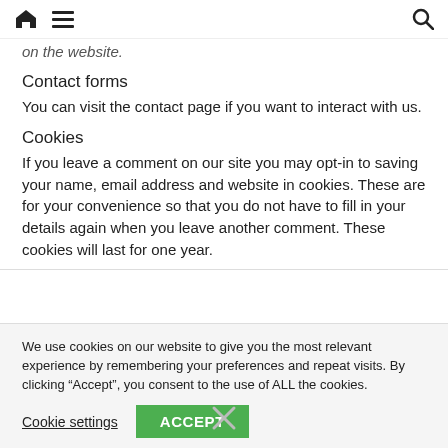[home icon] [menu icon] [search icon]
on the website.
Contact forms
You can visit the contact page if you want to interact with us.
Cookies
If you leave a comment on our site you may opt-in to saving your name, email address and website in cookies. These are for your convenience so that you do not have to fill in your details again when you leave another comment. These cookies will last for one year.
We use cookies on our website to give you the most relevant experience by remembering your preferences and repeat visits. By clicking “Accept”, you consent to the use of ALL the cookies.
Cookie settings  ACCEPT